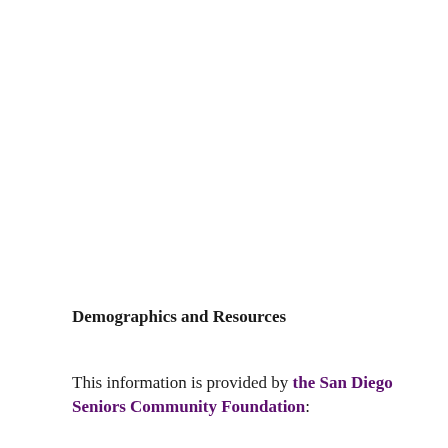Demographics and Resources
This information is provided by the San Diego Seniors Community Foundation: